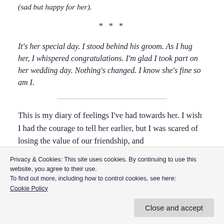(sad but happy for her).
* * *
It's her special day. I stood behind his groom. As I hug her, I whispered congratulations. I'm glad I took part on her wedding day. Nothing's changed. I know she's fine so am I.
This is my diary of feelings I've had towards her. I wish I had the courage to tell her earlier, but I was scared of losing the value of our friendship, and
Privacy & Cookies: This site uses cookies. By continuing to use this website, you agree to their use.
To find out more, including how to control cookies, see here:
Cookie Policy
Close and accept